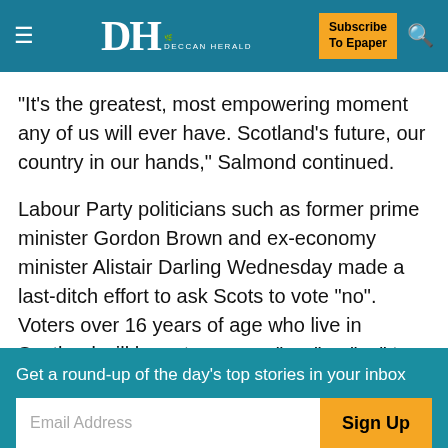Deccan Herald
"It's the greatest, most empowering moment any of us will ever have. Scotland's future, our country in our hands," Salmond continued.
Labour Party politicians such as former prime minister Gordon Brown and ex-economy minister Alistair Darling Wednesday made a last-ditch effort to ask Scots to vote "no". Voters over 16 years of age who live in Scotland will have to answer "yes" or "no" to the question whether they want the region to be independent.
Get a round-up of the day's top stories in your inbox